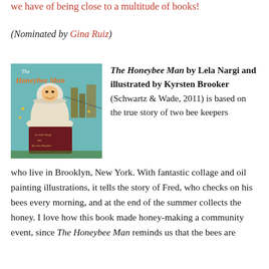we have of being close to a multitude of books!
(Nominated by Gina Ruiz)
[Figure (illustration): Book cover of The Honeybee Man showing a beekeeper in white suit holding honeycomb frames, with city skyline in background, colorful collage illustration]
The Honeybee Man by Lela Nargi and illustrated by Kyrsten Brooker (Schwartz & Wade, 2011) is based on the true story of two bee keepers who live in Brooklyn, New York. With fantastic collage and oil painting illustrations, it tells the story of Fred, who checks on his bees every morning, and at the end of the summer collects the honey. I love how this book made honey-making a community event, since The Honeybee Man reminds us that the bees are